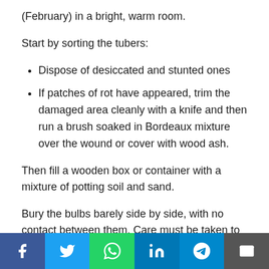(February) in a bright, warm room.
Start by sorting the tubers:
Dispose of desiccated and stunted ones
If patches of rot have appeared, trim the damaged area cleanly with a knife and then run a brush soaked in Bordeaux mixture over the wound or cover with wood ash.
Then fill a wooden box or container with a mixture of potting soil and sand.
Bury the bulbs barely side by side, with no contact between them. Care must be taken to ensure that they are placed the right way up, with the slightly hollowed side